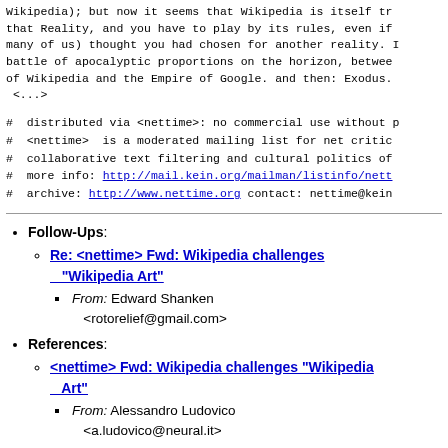Wikipedia); but now it seems that Wikipedia is itself tr that Reality, and you have to play by its rules, even if many of us) thought you had chosen for another reality. I battle of apocalyptic proportions on the horizon, between of Wikipedia and the Empire of Google. and then: Exodus. <...>
#  distributed via <nettime>: no commercial use without p
#  <nettime>  is a moderated mailing list for net critic
#  collaborative text filtering and cultural politics of
#  more info: http://mail.kein.org/mailman/listinfo/nett
#  archive: http://www.nettime.org contact: nettime@kein
Follow-Ups:
Re: <nettime> Fwd: Wikipedia challenges "Wikipedia Art"
From: Edward Shanken <rotorelief@gmail.com>
References:
<nettime> Fwd: Wikipedia challenges "Wikipedia Art"
From: Alessandro Ludovico <a.ludovico@neural.it>
Re: <nettime> Fwd: Wikipedia challenges